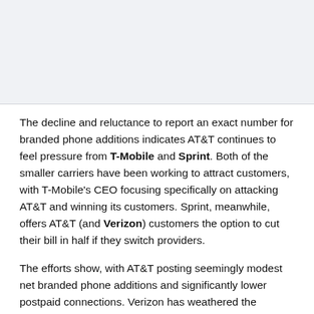[Figure (other): Gray placeholder image area at the top of the page]
The decline and reluctance to report an exact number for branded phone additions indicates AT&T continues to feel pressure from T-Mobile and Sprint. Both of the smaller carriers have been working to attract customers, with T-Mobile's CEO focusing specifically on attacking AT&T and winning its customers. Sprint, meanwhile, offers AT&T (and Verizon) customers the option to cut their bill in half if they switch providers.
The efforts show, with AT&T posting seemingly modest net branded phone additions and significantly lower postpaid connections. Verizon has weathered the competition a bit better, adding 322,000 phone subscribers in the second quarter. Both lost phone subscribers during the first quarter.